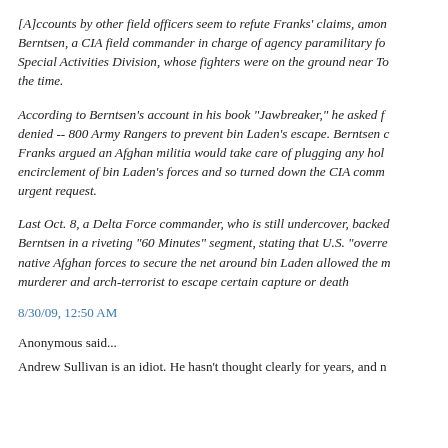[A]ccounts by other field officers seem to refute Franks' claims, among them Gary Berntsen, a CIA field commander in charge of agency paramilitary forces from the Special Activities Division, whose fighters were on the ground near Tora Bora at the time.
According to Berntsen's account in his book "Jawbreaker," he asked for -- and was denied -- 800 Army Rangers to prevent bin Laden's escape. Berntsen claims that Franks argued an Afghan militia would take care of plugging any holes in the encirclement of bin Laden's forces and so turned down the CIA commander's urgent request.
Last Oct. 8, a Delta Force commander, who is still undercover, backed up Berntsen in a riveting "60 Minutes" segment, stating that U.S. "overreliance" on native Afghan forces to secure the net around bin Laden allowed the mass murderer and arch-terrorist to escape certain capture or death
8/30/09, 12:50 AM
Anonymous said...
Andrew Sullivan is an idiot. He hasn't thought clearly for years, and n